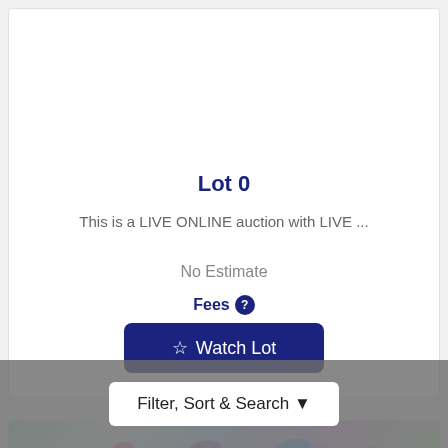Lot 0
This is a LIVE ONLINE auction with LIVE ...
No Estimate
Fees ?
☆ Watch Lot
[Figure (photo): Colorful floral illustration with butterflies and flowers in blue, pink, and green tones]
Filter, Sort & Search ▼